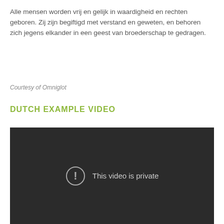Alle mensen worden vrij en gelijk in waardigheid en rechten geboren. Zij zijn begiftigd met verstand en geweten, en behoren zich jegens elkander in een geest van broederschap te gedragen.
Courtesy of Omniglot
DUTCH EXAMPLE VIDEO
[Figure (screenshot): Embedded video player showing a dark background with a circle exclamation icon and the text 'This video is private']